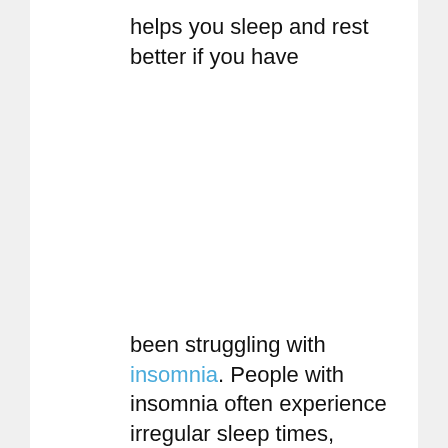helps you sleep and rest better if you have
been struggling with insomnia. People with insomnia often experience irregular sleep times, difficulty falling asleep, difficulty staying asleep, early awakening, daytime